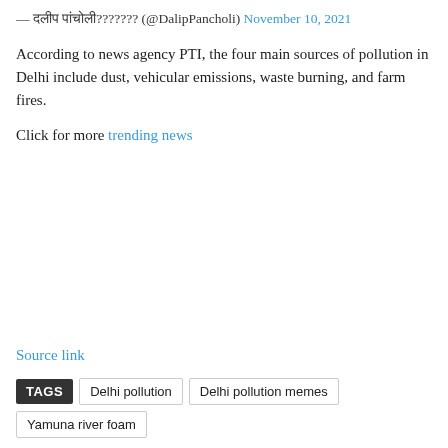— दलीप पांचोली??????? (@DalipPancholi) November 10, 2021
According to news agency PTI, the four main sources of pollution in Delhi include dust, vehicular emissions, waste burning, and farm fires.
Click for more trending news
Source link
TAGS Delhi pollution Delhi pollution memes Yamuna river foam